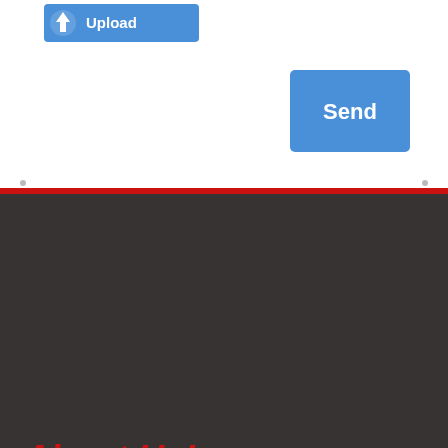[Figure (other): Upload button with blue background and upload arrow icon]
[Figure (other): Send button with blue background]
About Us!
[Figure (photo): Gray image placeholder rectangle]
We provide Best Packaging
Printing Services all over the USA. Where you will get the best quality of Printing Boxes